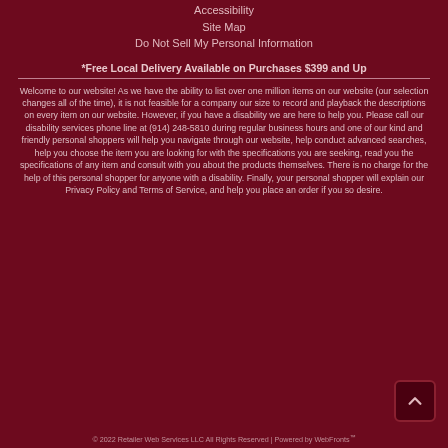Accessibility
Site Map
Do Not Sell My Personal Information
*Free Local Delivery Available on Purchases $399 and Up
Welcome to our website! As we have the ability to list over one million items on our website (our selection changes all of the time), it is not feasible for a company our size to record and playback the descriptions on every item on our website. However, if you have a disability we are here to help you. Please call our disability services phone line at (914) 248-5810 during regular business hours and one of our kind and friendly personal shoppers will help you navigate through our website, help conduct advanced searches, help you choose the item you are looking for with the specifications you are seeking, read you the specifications of any item and consult with you about the products themselves. There is no charge for the help of this personal shopper for anyone with a disability. Finally, your personal shopper will explain our Privacy Policy and Terms of Service, and help you place an order if you so desire.
© 2022 Retailer Web Services LLC All Rights Reserved | Powered by WebFronts™